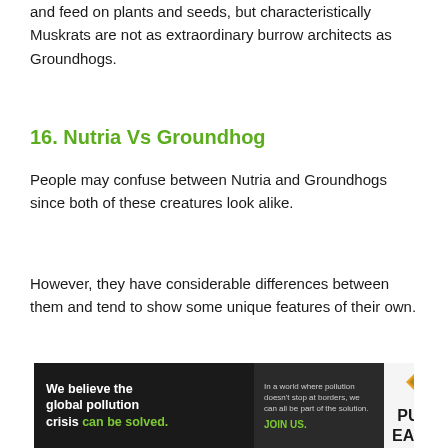and feed on plants and seeds, but characteristically Muskrats are not as extraordinary burrow architects as Groundhogs.
16. Nutria Vs Groundhog
People may confuse between Nutria and Groundhogs since both of these creatures look alike.
However, they have considerable differences between them and tend to show some unique features of their own.
[Figure (other): Advertisement banner for Pure Earth: 'We believe the global pollution crisis can be solved.' with tagline 'In a world where pollution doesn't stop at borders, we can all be part of the solution. JOIN US.' and Pure Earth logo.]